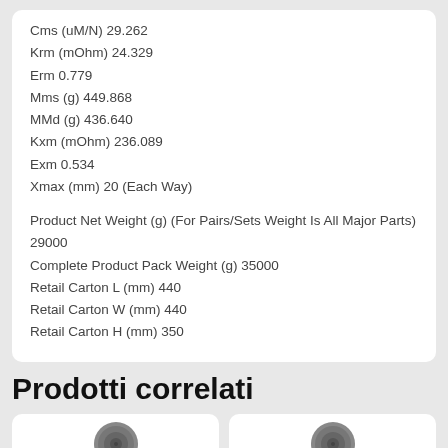Cms (uM/N) 29.262
Krm (mOhm) 24.329
Erm 0.779
Mms (g) 449.868
MMd (g) 436.640
Kxm (mOhm) 236.089
Exm 0.534
Xmax (mm) 20 (Each Way)

Product Net Weight (g) (For Pairs/Sets Weight Is All Major Parts) 29000
Complete Product Pack Weight (g) 35000
Retail Carton L (mm) 440
Retail Carton W (mm) 440
Retail Carton H (mm) 350
Prodotti correlati
[Figure (photo): Two product images partially visible at bottom of page showing speaker drivers]